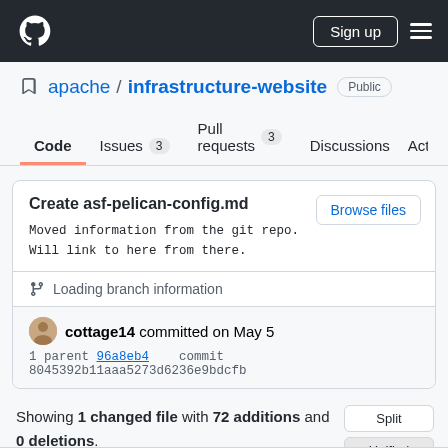GitHub navigation bar with logo, Sign up button, and hamburger menu
apache / infrastructure-website Public
Code  Issues 3  Pull requests 3  Discussions  Act
Create asf-pelican-config.md
Moved information from the git repo.
Will link to here from there.
Loading branch information
cottage14 committed on May 5
1 parent 96a8eb4    commit 8045392b11aaa5273d6236e9bdcfb
Showing 1 changed file with 72 additions and 0 deletions.